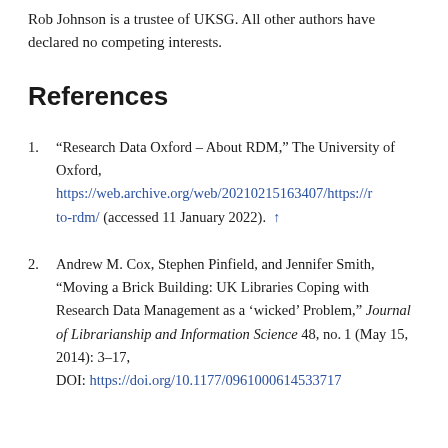Rob Johnson is a trustee of UKSG. All other authors have declared no competing interests.
References
1. “Research Data Oxford – About RDM,” The University of Oxford, https://web.archive.org/web/20210215163407/https://r to-rdm/ (accessed 11 January 2022). ↑
2. Andrew M. Cox, Stephen Pinfield, and Jennifer Smith, “Moving a Brick Building: UK Libraries Coping with Research Data Management as a ‘wicked’ Problem,” Journal of Librarianship and Information Science 48, no. 1 (May 15, 2014): 3–17, DOI: https://doi.org/10.1177/0961000614533717